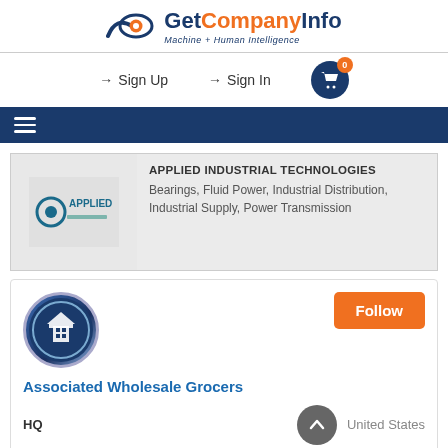[Figure (logo): GetCompanyInfo logo with eye/checkmark icon and tagline 'Machine + Human Intelligence']
Sign Up  Sign In  [Cart: 0]
[Figure (other): Hamburger menu icon on dark navy background]
[Figure (logo): Applied Industrial Technologies company logo]
APPLIED INDUSTRIAL TECHNOLOGIES
Bearings, Fluid Power, Industrial Distribution, Industrial Supply, Power Transmission
[Figure (logo): Associated Wholesale Grocers circular logo]
Follow
Associated Wholesale Grocers
HQ
United States